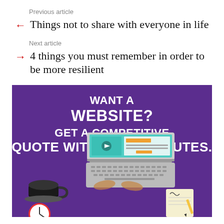Previous article
← Things not to share with everyone in life
Next article
→ 4 things you must remember in order to be more resilient
[Figure (infographic): Purple advertisement banner reading 'WANT A WEBSITE? GET A COMPETITIVE QUOTE WITHIN FEW MINUTES.' with an illustration of a laptop, coffee cup, clock, and notepad below the text.]